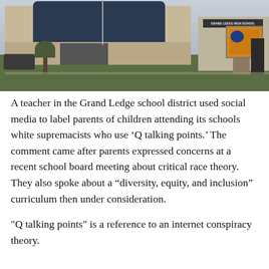[Figure (photo): Exterior photo of Grand Ledge High School building. Shows a modern school building with large windows, a curved roofline, and a school sign/monument with a mascot graphic on the right side. Green grass in the foreground, overcast sky.]
A teacher in the Grand Ledge school district used social media to label parents of children attending its schools white supremacists who use ‘Q talking points.’ The comment came after parents expressed concerns at a recent school board meeting about critical race theory. They also spoke about a “diversity, equity, and inclusion” curriculum then under consideration.
"Q talking points" is a reference to an internet conspiracy theory.